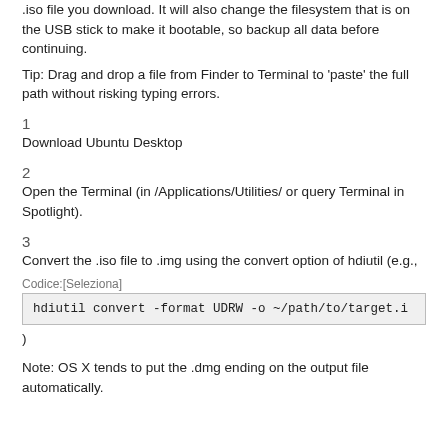.iso file you download. It will also change the filesystem that is on the USB stick to make it bootable, so backup all data before continuing.
Tip: Drag and drop a file from Finder to Terminal to 'paste' the full path without risking typing errors.
1
Download Ubuntu Desktop
2
Open the Terminal (in /Applications/Utilities/ or query Terminal in Spotlight).
3
Convert the .iso file to .img using the convert option of hdiutil (e.g.,
Codeice:[Seleziona]
hdiutil convert -format UDRW -o ~/path/to/target.i
)
Note: OS X tends to put the .dmg ending on the output file automatically.